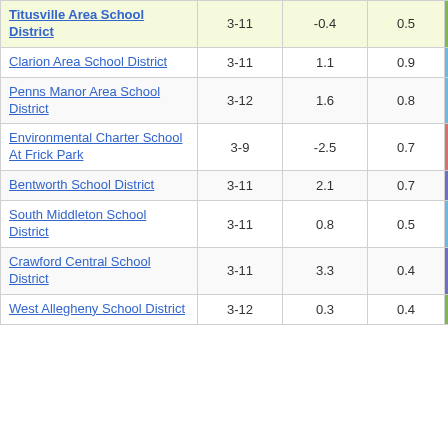| School District | Grades | Col3 | Col4 | Score |
| --- | --- | --- | --- | --- |
| Titusville Area School District | 3-11 | -0.4 | 0.5 | -0.72 |
| Clarion Area School District | 3-11 | 1.1 | 0.9 | 1.25 |
| Penns Manor Area School District | 3-12 | 1.6 | 0.8 | 1.96 |
| Environmental Charter School At Frick Park | 3-9 | -2.5 | 0.7 | -3.49 |
| Bentworth School District | 3-11 | 2.1 | 0.7 | 2.98 |
| South Middleton School District | 3-11 | 0.8 | 0.5 | 1.43 |
| Crawford Central School District | 3-11 | 3.3 | 0.4 | 7.81 |
| West Allegheny School District | 3-12 | 0.3 | 0.4 | 0.75 |